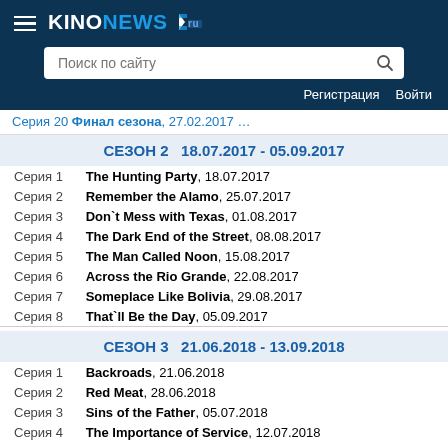KINONEWS.ru — navigation header with search and auth links
Серия 20 ...текст обрезан... 27.02.2017
СЕЗОН 2   18.07.2017 - 05.09.2017
Серия 1   The Hunting Party, 18.07.2017
Серия 2   Remember the Alamo, 25.07.2017
Серия 3   Don`t Mess with Texas, 01.08.2017
Серия 4   The Dark End of the Street, 08.08.2017
Серия 5   The Man Called Noon, 15.08.2017
Серия 6   Across the Rio Grande, 22.08.2017
Серия 7   Someplace Like Bolivia, 29.08.2017
Серия 8   That`ll Be the Day, 05.09.2017
СЕЗОН 3   21.06.2018 - 13.09.2018
Серия 1   Backroads, 21.06.2018
Серия 2   Red Meat, 28.06.2018
Серия 3   Sins of the Father, 05.07.2018
Серия 4   The Importance of Service, 12.07.2018
Серия 5   A Call to Arms, 19.07.2018